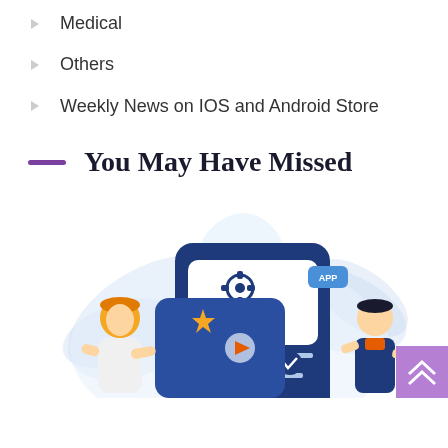Medical
Others
Weekly News on IOS and Android Store
You May Have Missed
[Figure (illustration): Flat-style illustration showing two people interacting with a large mobile phone/app interface displaying a settings gear icon, text lines, a checkmark, a star, and a play button. Blue and orange color scheme with decorative tropical leaves in the background. A purple scroll-to-top button appears at bottom right.]